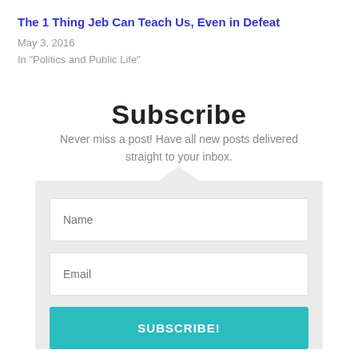The 1 Thing Jeb Can Teach Us, Even in Defeat
May 3, 2016
In "Politics and Public Life"
Subscribe
Never miss a post! Have all new posts delivered straight to your inbox.
[Figure (other): Subscription form with Name and Email input fields and a SUBSCRIBE! button on a grey background with a downward pointing triangle notch at top]